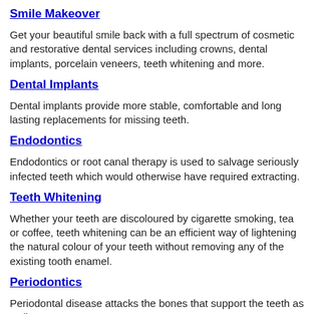Smile Makeover
Get your beautiful smile back with a full spectrum of cosmetic and restorative dental services including crowns, dental implants, porcelain veneers, teeth whitening and more.
Dental Implants
Dental implants provide more stable, comfortable and long lasting replacements for missing teeth.
Endodontics
Endodontics or root canal therapy is used to salvage seriously infected teeth which would otherwise have required extracting.
Teeth Whitening
Whether your teeth are discoloured by cigarette smoking, tea or coffee, teeth whitening can be an efficient way of lightening the natural colour of your teeth without removing any of the existing tooth enamel.
Periodontics
Periodontal disease attacks the bones that support the teeth as well